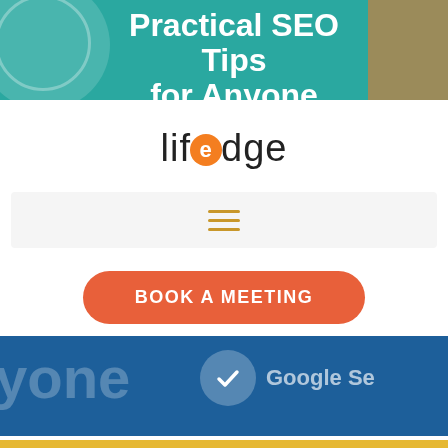Practical SEO Tips for Anyone
[Figure (logo): lifedge logo with orange circle 'e']
[Figure (screenshot): Navigation bar with hamburger menu icon (three orange horizontal lines)]
BOOK A MEETING
[Figure (screenshot): Blue banner section showing partial text 'yone' and a Google Search Console badge with checkmark circle, plus a dark scroll-to-top button with up arrow]
[Figure (other): Gold/yellow horizontal strip at bottom of page]